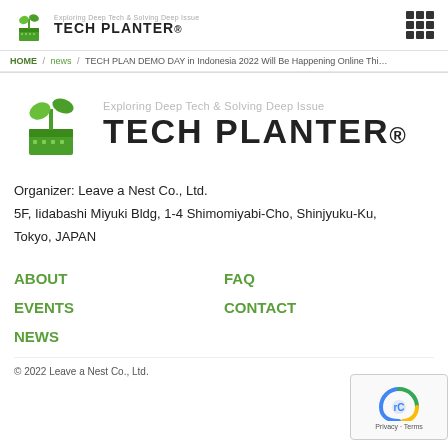TECH PLANTER — Exploring Deep Tech & Solving Deep Issue
HOME / news / TECH PLAN DEMO DAY in Indonesia 2022 Will Be Happening Online Thi…
[Figure (logo): Tech Planter logo with plant icon, tagline 'Exploring Deep Tech & Solving Deep Issue' and bold 'TECH PLANTER.' text]
Organizer: Leave a Nest Co., Ltd.
5F, Iidabashi Miyuki Bldg, 1-4 Shimomiyabi-Cho, Shinjyuku-Ku, Tokyo, JAPAN
ABOUT
FAQ
EVENTS
CONTACT
NEWS
© 2022 Leave a Nest Co., Ltd.